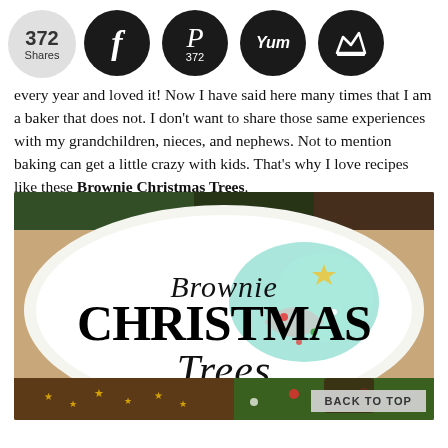[Figure (infographic): Social share bar with 372 Shares count, Facebook, Pinterest (372), Yummly, and crown icons]
every year and loved it! Now I have said here many times that I am a baker that does not. I don't want to share those same experiences with my grandchildren, nieces, and nephews. Not to mention baking can get a little crazy with kids. That's why I love recipes like these Brownie Christmas Trees.
[Figure (photo): Brownie Christmas Trees title image over a plate with green-frosted brownie Christmas tree. Text overlay reads 'Brownie CHRISTMAS Trees' in decorative typography.]